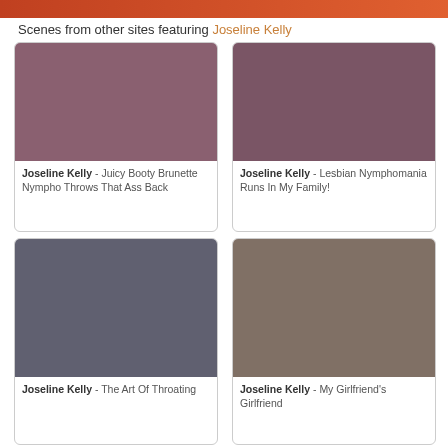[Figure (photo): Top banner image strip, partially visible, orange-red tones]
Scenes from other sites featuring Joseline Kelly
[Figure (photo): Joseline Kelly in red lingerie on a bed with colorful lights in background]
Joseline Kelly - Juicy Booty Brunette Nympho Throws That Ass Back
[Figure (photo): Joseline Kelly with another woman, painting visible in background]
Joseline Kelly - Lesbian Nymphomania Runs In My Family!
[Figure (photo): Dark-haired woman in black stockings on white couch]
Joseline Kelly - The Art Of Throating
[Figure (photo): Two women on a bed, one blonde one red-haired]
Joseline Kelly - My Girlfriend's Girlfriend